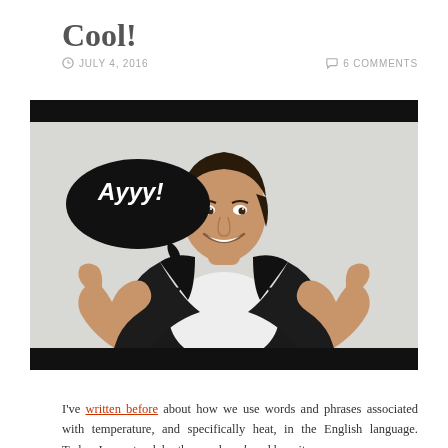Cool!
JULY 4, 2016   6 COMMENTS
[Figure (photo): A smiling man in a black leather jacket and white t-shirt giving two thumbs up, with a speech bubble saying 'Ayyy!' — referencing The Fonz character from Happy Days. The photo has black bars at top and bottom.]
I've written before about how we use words and phrases associated with temperature, and specifically heat, in the English language. Today, I was struck by the word cool, and how it seems